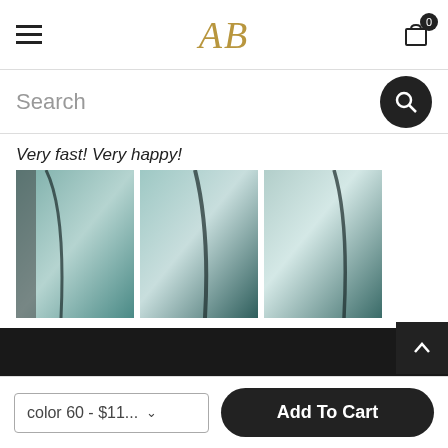AB logo with hamburger menu and cart
Search
Very fast! Very happy!
[Figure (photo): Three product images showing rolled/curved material in teal/green tones with dark lines]
The cookie settings on this website are set to 'allow all cookies' to give you the very best experience. Please click Accept Cookies to continue to use the site.
Accept
Privacy Policy
color 60 - $11... ∨
Add To Cart